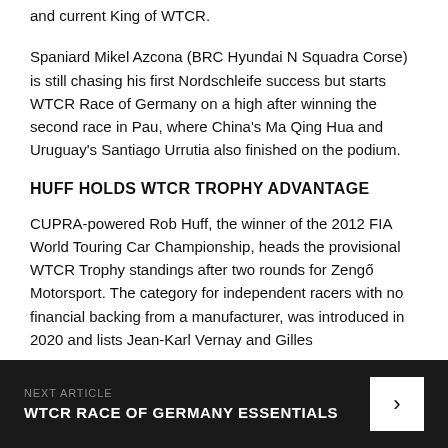and current King of WTCR.
Spaniard Mikel Azcona (BRC Hyundai N Squadra Corse) is still chasing his first Nordschleife success but starts WTCR Race of Germany on a high after winning the second race in Pau, where China's Ma Qing Hua and Uruguay's Santiago Urrutia also finished on the podium.
HUFF HOLDS WTCR TROPHY ADVANTAGE
CUPRA-powered Rob Huff, the winner of the 2012 FIA World Touring Car Championship, heads the provisional WTCR Trophy standings after two rounds for Zengő Motorsport. The category for independent racers with no financial backing from a manufacturer, was introduced in 2020 and lists Jean-Karl Vernay and Gilles
NEXT ARTICLE
WTCR RACE OF GERMANY ESSENTIALS